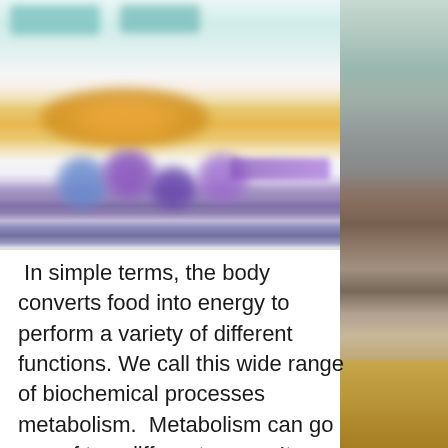[Figure (photo): Blurred scientific/biological image showing colorful blobs and shapes in teal, orange, blue, and purple tones — likely a microscopy or cell biology illustration. A horizontal purple bar is also visible.]
[Figure (photo): Photograph of a wooden cabin or outbuilding with solar panels on the roof, set against a mountainous landscape with dry grass/hay in the foreground.]
In simple terms, the body converts food into energy to perform a variety of different functions. We call this wide range of biochemical processes metabolism.  Metabolism can go one of two different ways.  It can either build up substances in the body (through a process